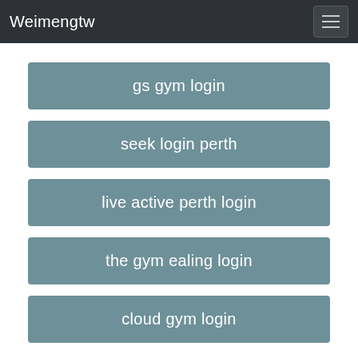Weimengtw
gs gym login
seek login perth
live active perth login
the gym ealing login
cloud gym login